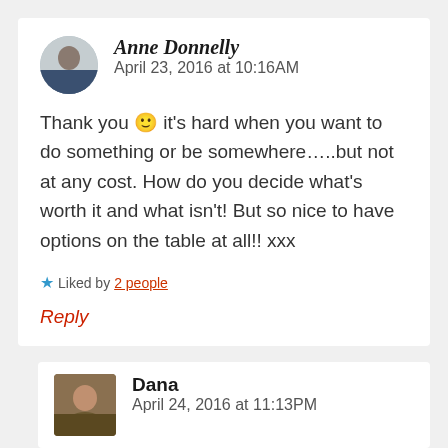Anne Donnelly   April 23, 2016 at 10:16AM
Thank you 🙂 it's hard when you want to do something or be somewhere…..but not at any cost. How do you decide what's worth it and what isn't! But so nice to have options on the table at all!! xxx
★ Liked by 2 people
Reply
Dana   April 24, 2016 at 11:13PM